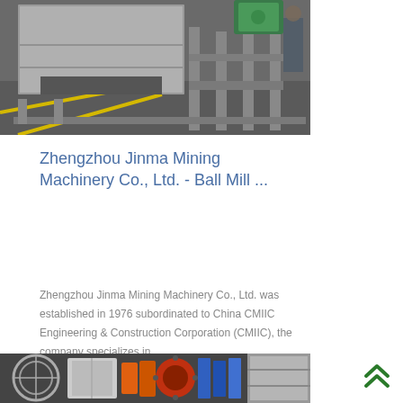[Figure (photo): Industrial mining machinery - large grey metal frame/box structure on a concrete floor, green motor visible at top right, industrial workshop setting]
Zhengzhou Jinma Mining Machinery Co., Ltd. - Ball Mill ...
Zhengzhou Jinma Mining Machinery Co., Ltd. was established in 1976 subordinated to China CMIIC Engineering & Construction Corporation (CMIIC), the company specializes in
[Figure (photo): Industrial mining equipment components - circular mill parts and colorful cable/pipe arrangements visible at bottom of page]